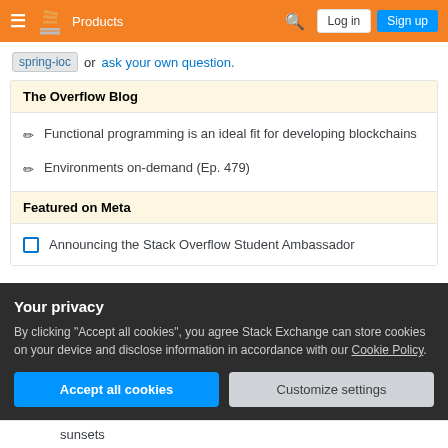Stack Overflow — Products | Log in | Sign up
spring-ioc or ask your own question.
The Overflow Blog
Functional programming is an ideal fit for developing blockchains
Environments on-demand (Ep. 479)
Featured on Meta
Announcing the Stack Overflow Student Ambassador
Your privacy
By clicking "Accept all cookies", you agree Stack Exchange can store cookies on your device and disclose information in accordance with our Cookie Policy.
Accept all cookies | Customize settings
sunsets